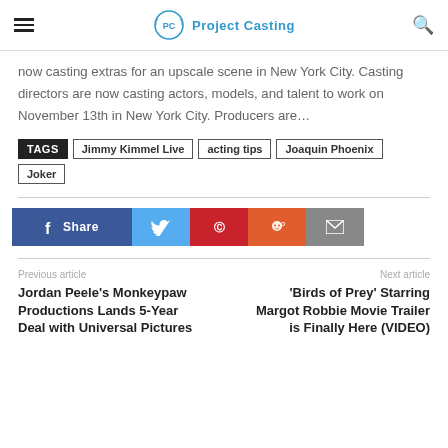Project Casting
now casting extras for an upscale scene in New York City. Casting directors are now casting actors, models, and talent to work on November 13th in New York City. Producers are…
TAGS: Jimmy Kimmel Live, acting tips, Joaquin Phoenix, Joker
[Figure (infographic): Social share buttons: Facebook Share, Twitter, Pinterest, Reddit, Email]
Previous article
Jordan Peele's Monkeypaw Productions Lands 5-Year Deal with Universal Pictures
Next article
'Birds of Prey' Starring Margot Robbie Movie Trailer is Finally Here (VIDEO)